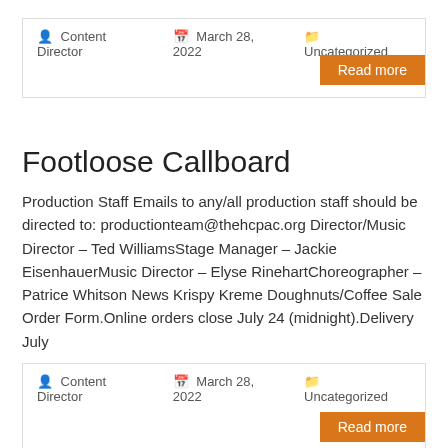Content Director   March 28, 2022   Uncategorized
Read more
Footloose Callboard
Production Staff Emails to any/all production staff should be directed to: productionteam@thehcpac.org Director/Music Director – Ted WilliamsStage Manager – Jackie EisenhauerMusic Director – Elyse RinehartChoreographer – Patrice Whitson News Krispy Kreme Doughnuts/Coffee Sale Order Form.Online orders close July 24 (midnight).Delivery July
Content Director   March 28, 2022   Uncategorized
Read more